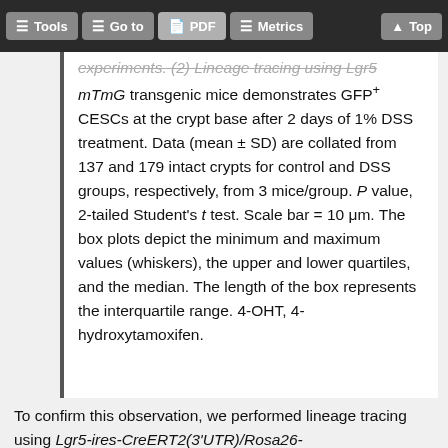Tools | Go to | PDF | Metrics | Top
experiments. (2) Lineage tracing using Lgr5 mTmG transgenic mice demonstrates GFP+ CESCs at the crypt base after 2 days of 1% DSS treatment. Data (mean ± SD) are collated from 137 and 179 intact crypts for control and DSS groups, respectively, from 3 mice/group. P value, 2-tailed Student's t test. Scale bar = 10 μm. The box plots depict the minimum and maximum values (whiskers), the upper and lower quartiles, and the median. The length of the box represents the interquartile range. 4-OHT, 4-hydroxytamoxifen.
To confirm this observation, we performed lineage tracing using Lgr5-ires-CreERT2(3'UTR)/Rosa26-